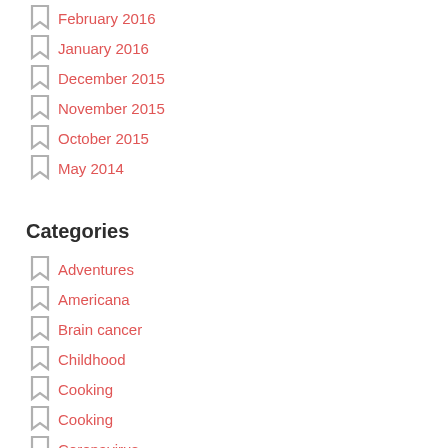February 2016
January 2016
December 2015
November 2015
October 2015
May 2014
Categories
Adventures
Americana
Brain cancer
Childhood
Cooking
Cooking
Coronavirus
COVID-19
Cycling